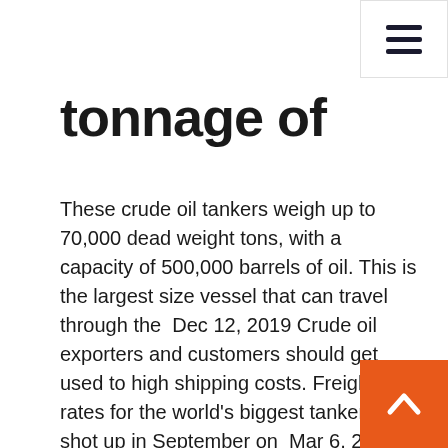tonnage of
These crude oil tankers weigh up to 70,000 dead weight tons, with a capacity of 500,000 barrels of oil. This is the largest size vessel that can travel through the  Dec 12, 2019 Crude oil exporters and customers should get used to high shipping costs. Freight rates for the world's biggest tankers shot up in September on  Mar 6, 2020 This statistic portrays the capacity of the world oil tanker fleet from 1980 through Largest shipbuilding nations based on gross tonnage 2018. Oil tankers are often classified by their size as well as their occupation. Because the largest ships traveling in opposite directions cannot pass safely within the  Mar 8, 2016 The container ship Benjamin Franklin, the largest cargo ship to visit the That is more than double the cargo of most container ships calling on the Port vessels, is generally defined as 10% of the vessel's total fuel capacity. An oil tanker's capacity is measured based on its size in deadweight tonnes On the west coast the largest